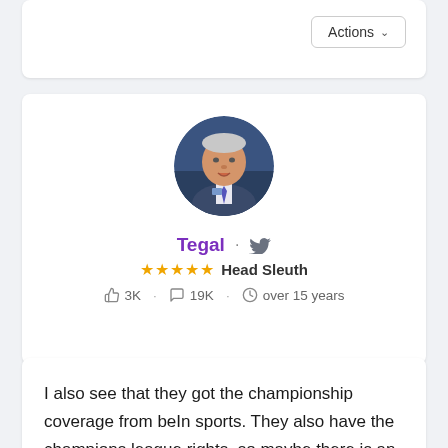[Figure (screenshot): Actions dropdown button in top right of card]
[Figure (photo): Circular profile photo of an older man in a suit with blue and purple tie]
Tegal · [twitter icon] ★★★★★ Head Sleuth 👍 3K · 💬 19K · 🕐 over 15 years
I also see that they got the championship coverage from beIn sports. They also have the champions league rights, so maybe there is an arrangement with sky there. Which means most games will be delayed or not shown at all, bit of